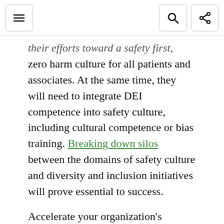[navigation bar with menu, search, and share icons]
their efforts toward a safety first, zero harm culture for all patients and associates. At the same time, they will need to integrate DEI competence into safety culture, including cultural competence or bias training. Breaking down silos between the domains of safety culture and diversity and inclusion initiatives will prove essential to success.
Accelerate your organization's journey to zero harm. Take the